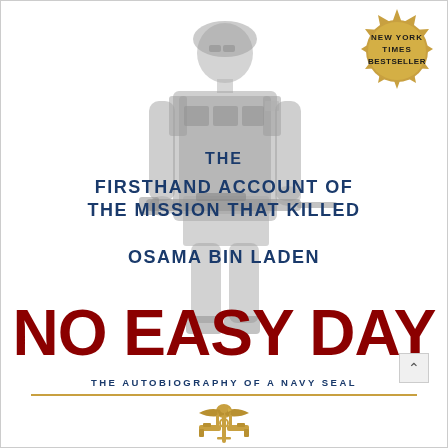[Figure (illustration): Book cover of 'No Easy Day' featuring a faded grayscale soldier in full combat gear holding a rifle, standing as the background image. A gold starburst 'New York Times Bestseller' badge appears in the top right corner. A gold SEAL trident emblem appears at the bottom center.]
THE FIRSTHAND ACCOUNT OF THE MISSION THAT KILLED OSAMA BIN LADEN
NO EASY DAY
THE AUTOBIOGRAPHY OF A NAVY SEAL